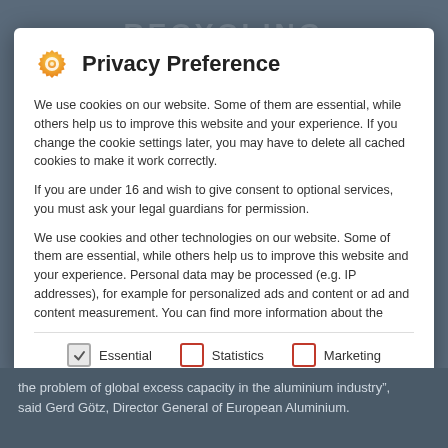Privacy Preference
We use cookies on our website. Some of them are essential, while others help us to improve this website and your experience. If you change the cookie settings later, you may have to delete all cached cookies to make it work correctly.
If you are under 16 and wish to give consent to optional services, you must ask your legal guardians for permission.
We use cookies and other technologies on our website. Some of them are essential, while others help us to improve this website and your experience. Personal data may be processed (e.g. IP addresses), for example for personalized ads and content or ad and content measurement. You can find more information about the
Essential
Statistics
Marketing
External Media
the problem of global excess capacity in the aluminium industry", said Gerd Götz, Director General of European Aluminium.